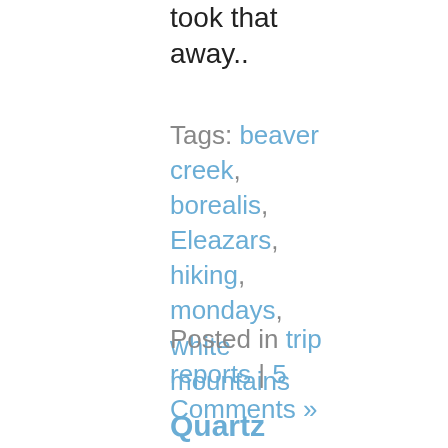took that away..
Tags: beaver creek, borealis, Eleazars, hiking, mondays, white mountains
Posted in trip reports | 5 Comments »
Quartz Creek hike